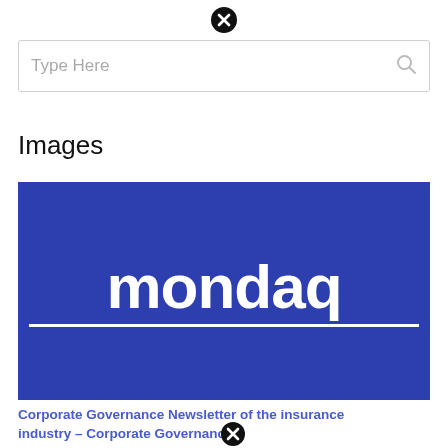[Figure (other): Close/dismiss button (circle with X) at top center]
[Figure (screenshot): Search bar with placeholder text 'Type Here' and a search icon on the right]
Images
[Figure (logo): Mondaq logo — white bold lowercase 'mondaq' text with white underline on a blue/indigo background]
Corporate Governance Newsletter of the insurance industry – Corporate Governance
[Figure (other): Close/dismiss button (circle with X) at bottom near link text]